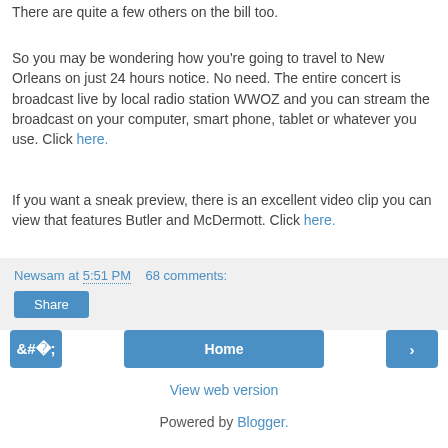There are quite a few others on the bill too.
So you may be wondering how you're going to travel to New Orleans on just 24 hours notice. No need. The entire concert is broadcast live by local radio station WWOZ and you can stream the broadcast on your computer, smart phone, tablet or whatever you use. Click here.
If you want a sneak preview, there is an excellent video clip you can view that features Butler and McDermott. Click here.
Newsam at 5:51 PM    68 comments:
Share
Home
View web version
Powered by Blogger.